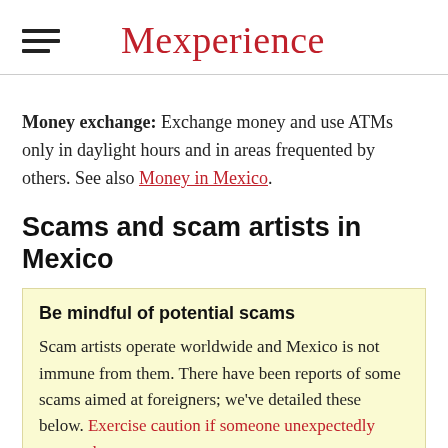Mexperience
Money exchange: Exchange money and use ATMs only in daylight hours and in areas frequented by others. See also Money in Mexico.
Scams and scam artists in Mexico
Be mindful of potential scams
Scam artists operate worldwide and Mexico is not immune from them. There have been reports of some scams aimed at foreigners; we've detailed these below. Exercise caution if someone unexpectedly approaches you.